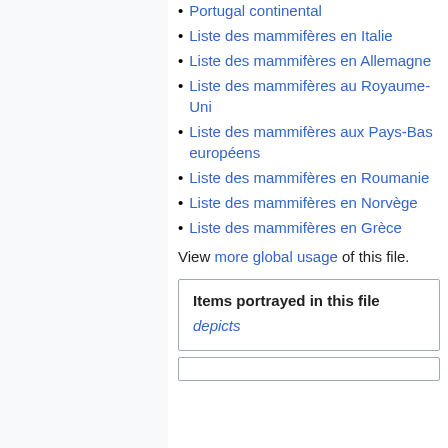Portugal continental
Liste des mammifères en Italie
Liste des mammifères en Allemagne
Liste des mammifères au Royaume-Uni
Liste des mammifères aux Pays-Bas européens
Liste des mammifères en Roumanie
Liste des mammifères en Norvège
Liste des mammifères en Grèce
View more global usage of this file.
| Items portrayed in this file |
| --- |
| depicts |